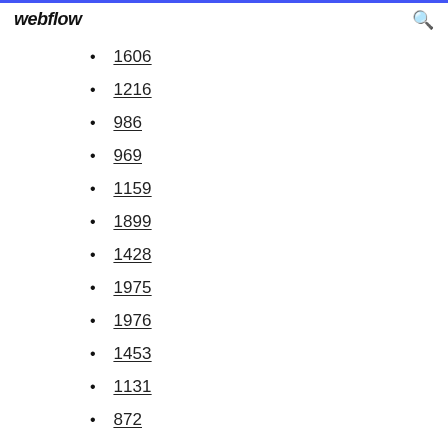webflow
1606
1216
986
969
1159
1899
1428
1975
1976
1453
1131
872